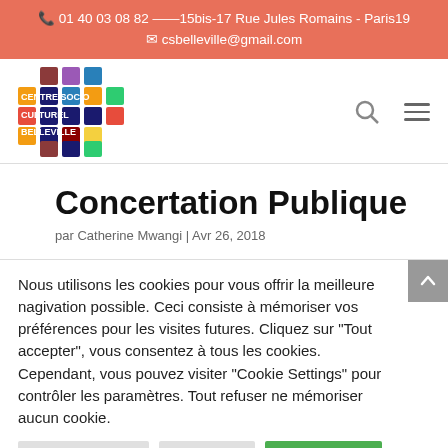📞 01 40 03 08 82 ——15bis-17 Rue Jules Romains - Paris19
✉ csbelleville@gmail.com
[Figure (logo): Centre Socio Culturel Belleville colorful logo with text blocks]
Concertation Publique
par Catherine Mwangi | Avr 26, 2018
Nous utilisons les cookies pour vous offrir la meilleure nagivation possible. Ceci consiste à mémoriser vos préférences pour les visites futures. Cliquez sur "Tout accepter", vous consentez à tous les cookies. Cependant, vous pouvez visiter "Cookie Settings" pour contrôler les paramètres. Tout refuser ne mémoriser aucun cookie.
Réglage Cookies | tout refuser | Tout accepter